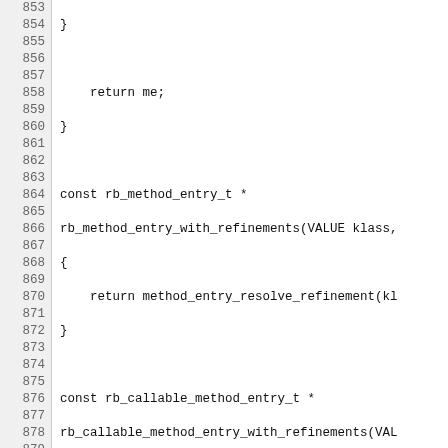Source code listing lines 853-883 showing C functions: rb_method_entry_with_refinements, rb_callable_method_entry_with_refinements, rb_method_entry_without_refinements, rb_callable_method_entry_without_refinements